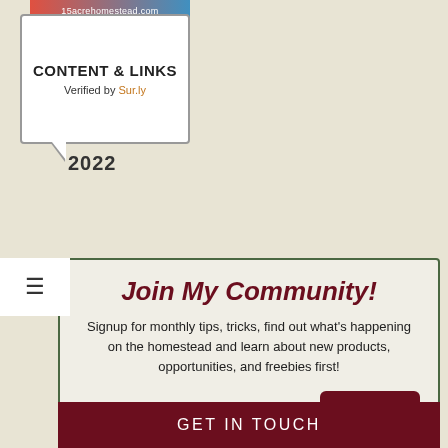[Figure (logo): 15acrehomestead.com Content & Links badge verified by Sur.ly, 2022]
2022
Join My Community!
Signup for monthly tips, tricks, find out what's happening on the homestead and learn about new products, opportunities, and freebies first!
First Name | Email | Sign Me Up!
GET IN TOUCH